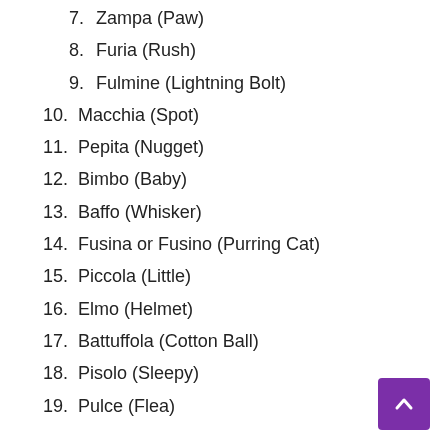7. Zampa (Paw)
8. Furia (Rush)
9. Fulmine (Lightning Bolt)
10. Macchia (Spot)
11. Pepita (Nugget)
12. Bimbo (Baby)
13. Baffo (Whisker)
14. Fusina or Fusino (Purring Cat)
15. Piccola (Little)
16. Elmo (Helmet)
17. Battuffola (Cotton Ball)
18. Pisolo (Sleepy)
19. Pulce (Flea)